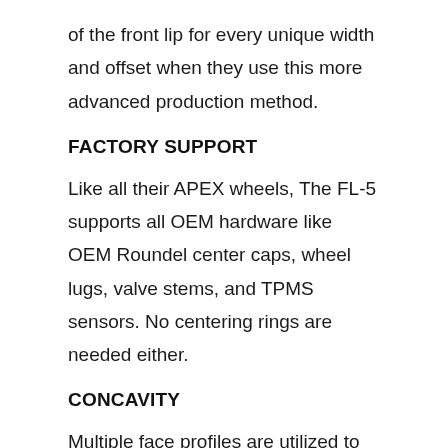of the front lip for every unique width and offset when they use this more advanced production method.
FACTORY SUPPORT
Like all their APEX wheels, The FL-5 supports all OEM hardware like OEM Roundel center caps, wheel lugs, valve stems, and TPMS sensors. No centering rings are needed either.
CONCAVITY
Multiple face profiles are utilized to maximize spoke concavity and reduce weight on the FL-5 design. To